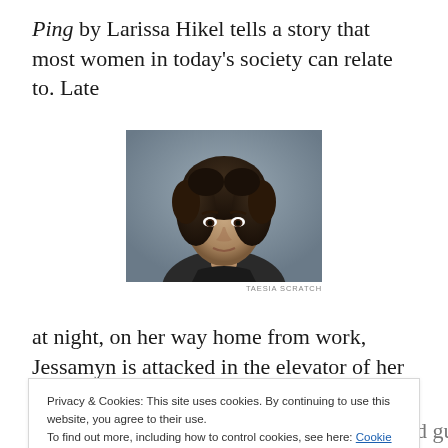Ping by Larissa Hikel tells a story that most women in today's society can relate to. Late
[Figure (photo): Headshot photo of a woman with curly dark hair, wearing a dark top, looking at the camera with a serious expression. Photo credit: TAESIA SCRATCH]
TAESIA SCRATCH
at night, on her way home from work, Jessamyn is attacked in the elevator of her apartment building by an unknown man. Although she manages to escape the initial
Privacy & Cookies: This site uses cookies. By continuing to use this website, you agree to their use.
To find out more, including how to control cookies, see here: Cookie Policy
beating myself up, saying I'm selfish, second guessing my